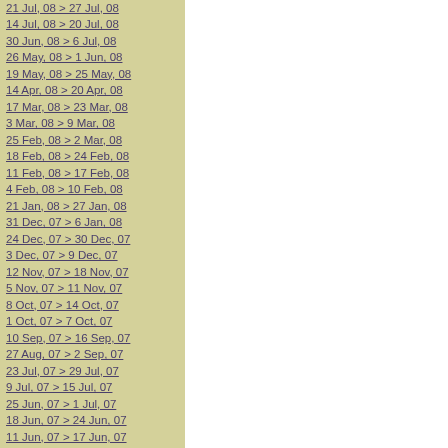21 Jul, 08 > 27 Jul, 08
14 Jul, 08 > 20 Jul, 08
30 Jun, 08 > 6 Jul, 08
26 May, 08 > 1 Jun, 08
19 May, 08 > 25 May, 08
14 Apr, 08 > 20 Apr, 08
17 Mar, 08 > 23 Mar, 08
3 Mar, 08 > 9 Mar, 08
25 Feb, 08 > 2 Mar, 08
18 Feb, 08 > 24 Feb, 08
11 Feb, 08 > 17 Feb, 08
4 Feb, 08 > 10 Feb, 08
21 Jan, 08 > 27 Jan, 08
31 Dec, 07 > 6 Jan, 08
24 Dec, 07 > 30 Dec, 07
3 Dec, 07 > 9 Dec, 07
12 Nov, 07 > 18 Nov, 07
5 Nov, 07 > 11 Nov, 07
8 Oct, 07 > 14 Oct, 07
1 Oct, 07 > 7 Oct, 07
10 Sep, 07 > 16 Sep, 07
27 Aug, 07 > 2 Sep, 07
23 Jul, 07 > 29 Jul, 07
9 Jul, 07 > 15 Jul, 07
25 Jun, 07 > 1 Jul, 07
18 Jun, 07 > 24 Jun, 07
11 Jun, 07 > 17 Jun, 07
28 May, 07 > 3 Jun, 07
21 May, 07 > 27 May, 07